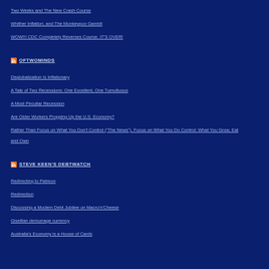Two Weeks and The New Crash Course
Whither Inflation, and The Monkeypox Gambit
WOW!!! CDC Completely Reverses Course. IT'S OVER!
OFTWOMINDS
Deglobalization Is Inflationary
A Tale of Two Recessions: One Excellent, One Tumultuous
A Most Peculiar Recession
Are Older Workers Propping Up the U.S. Economy?
Rather Than Focus on What You Don't Control ("The News"), Focus on What You Do Control: What You Grow, Eat and Own
STEVE KEEN'S DEBTWATCH
Redirecting to Patreon
Redirection
Discussing a Modern Debt Jubilee on Macro'n'Cheese
Gisellian demurrage currency
Australia's Economy is a House of Cards